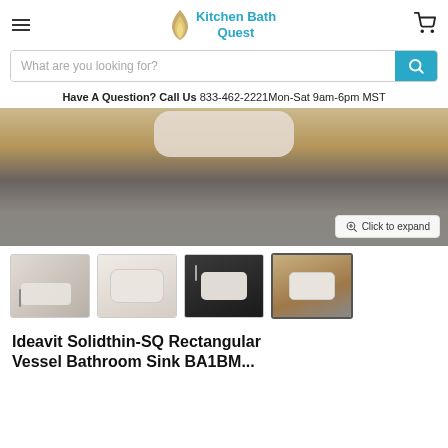Kitchen Bath Quest — navigation header with hamburger menu, logo, and cart icon
What are you looking for?
Have A Question? Call Us  833-462-2221Mon-Sat 9am-6pm MST
[Figure (photo): Close-up photograph of a rectangular white vessel sink on a wood-grain countertop with dark stone/concrete background. Shows the sink partially from above, with a 'Click to expand' button overlay at bottom right.]
[Figure (photo): Thumbnail 1: White rectangular vessel sink on dark background with faucet]
[Figure (photo): Thumbnail 2: Close-up of white rectangular vessel sink]
[Figure (photo): Thumbnail 3: White rectangular vessel sink on black stand with faucet]
[Figure (photo): Thumbnail 4 (active/selected): White rectangular vessel sink on wood countertop — currently displayed main image]
Ideavit Solidthin-SQ Rectangular Vessel Bathroom Sink BA1BM...